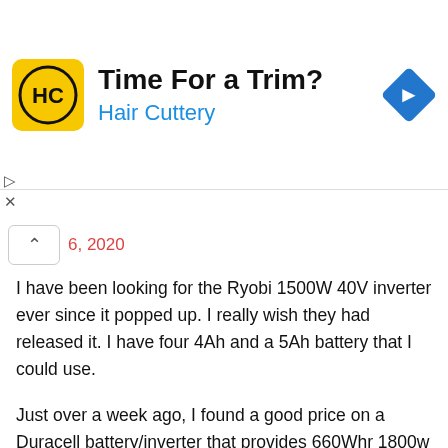[Figure (logo): Hair Cuttery advertisement banner with HC logo, 'Time For a Trim?' heading, 'Hair Cuttery' subtitle in blue, and a blue navigation arrow icon on the right]
6, 2020
I have been looking for the Ryobi 1500W 40V inverter ever since it popped up. I really wish they had released it. I have four 4Ah and a 5Ah battery that I could use.
Just over a week ago, I found a good price on a Duracell battery/inverter that provides 660Whr 1800w (PowerSource 660). I got 2 of them. Each runs the fridge for almost 5 hours. One ran our routers and modems for 23.5 hours in a test. They can act as UPS, which is nice.
The Duracells puts out pure sine wave and can be solar charged with a built-in controller as well. You can add any 12V source to a connection on the back to extend runtime. The built-in battery is 55Ahr. If I picked up a